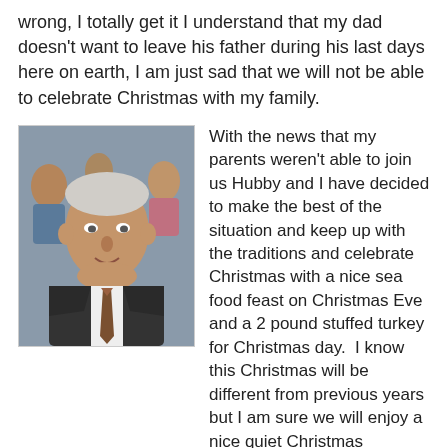wrong, I totally get it I understand that my dad doesn't want to leave his father during his last days here on earth, I am just sad that we will not be able to celebrate Christmas with my family.
[Figure (photo): Portrait photo of an elderly man in a suit and tie, with people in the background.]
With the news that my parents weren't able to join us Hubby and I have decided to make the best of the situation and keep up with the traditions and celebrate Christmas with a nice sea food feast on Christmas Eve and a 2 pound stuffed turkey for Christmas day.  I know this Christmas will be different from previous years but I am sure we will enjoy a nice quiet Christmas together.
One thing that has been heavy on my heart is how difficult this must be for my dad to see his father struggle and in pain so I pray for my dad and that he may be at peace with the